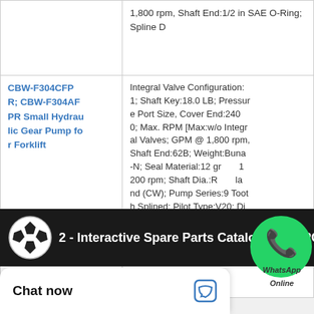| Product | Specifications |
| --- | --- |
|  | 1,800 rpm, Shaft End:1/2 in SAE O-Ring; Spline D |
| CBW-F304CFPR; CBW-F304AFPR Small Hydraulic Gear Pump for Forklift | Integral Valve Configuration:1; Shaft Key:18.0 LB; Pressure Port Size, Cover End:2400; Max. RPM [Max:w/o Integral Valves; GPM @ 1,800 rpm, Shaft End:62B; Weight:Buna-N; Seal Material:12 gr 1 200 rpm; Shaft Dia.:R...la nd (CW); Pump Series:9 Tooth Splined; Pilot Type:V20; Displacement (in³/rev):2. |
[Figure (screenshot): Dark video thumbnail banner showing a soccer ball icon and text '2 - Interactive Spare Parts Catalogs with PCG']
Chat now